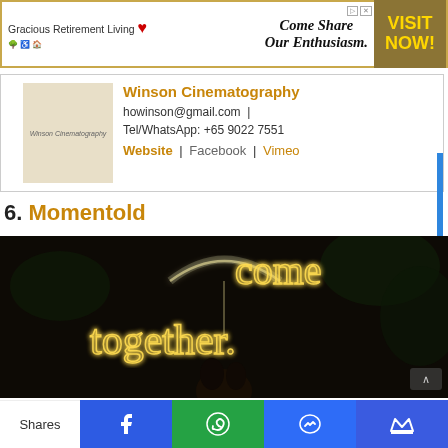[Figure (photo): Advertisement banner for Gracious Retirement Living with text 'Come Share Our Enthusiasm.' and 'VISIT NOW!' call to action button]
Winson Cinematography
howinson@gmail.com | Tel/WhatsApp: +65 9022 7551
Website | Facebook | Vimeo
6. Momentold
[Figure (photo): Dark artistic wedding photo with light painting text reading 'come together' with couple under transparent umbrella at night]
Shares [Facebook] [WhatsApp] [Messenger] [Crown]